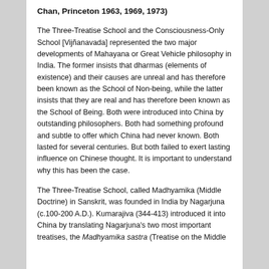Chan, Princeton 1963, 1969, 1973)
The Three-Treatise School and the Consciousness-Only School [Vijñanavada] represented the two major developments of Mahayana or Great Vehicle philosophy in India. The former insists that dharmas (elements of existence) and their causes are unreal and has therefore been known as the School of Non-being, while the latter insists that they are real and has therefore been known as the School of Being. Both were introduced into China by outstanding philosophers. Both had something profound and subtle to offer which China had never known. Both lasted for several centuries. But both failed to exert lasting influence on Chinese thought. It is important to understand why this has been the case.
The Three-Treatise School, called Madhyamika (Middle Doctrine) in Sanskrit, was founded in India by Nagarjuna (c.100-200 A.D.). Kumarajiva (344-413) introduced it into China by translating Nagarjuna's two most important treatises, the Madhyamika sastra (Treatise on the Middle